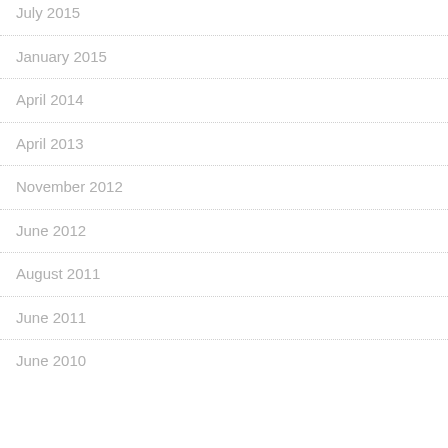July 2015
January 2015
April 2014
April 2013
November 2012
June 2012
August 2011
June 2011
June 2010